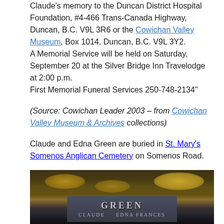Claude's memory to the Duncan District Hospital Foundation, #4-466 Trans-Canada Highway, Duncan, B.C. V9L 3R6 or the Cowichan Valley Museum, Box 1014, Duncan, B.C. V9L 3Y2.
A Memorial Service will be held on Saturday, September 20 at the Silver Bridge Inn Travelodge at 2:00 p.m.
First Memorial Funeral Services 250-748-2134"
(Source: Cowichan Leader 2003 – from Cowichan Valley Museum & Archives collections)
Claude and Edna Green are buried in St. Mary's Somenos Anglican Cemetery on Somenos Road.
[Figure (photo): A photograph of a gravestone marked GREEN with names CLAUDE and EDNA FRANCES, covered in moss and lichen, at St. Mary's Somenos Anglican Cemetery.]